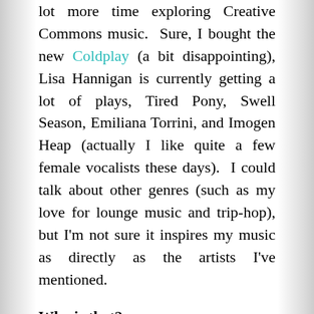lot more time exploring Creative Commons music.  Sure, I bought the new Coldplay (a bit disappointing), Lisa Hannigan is currently getting a lot of plays, Tired Pony, Swell Season, Emiliana Torrini, and Imogen Heap (actually I like quite a few female vocalists these days).  I could talk about other genres (such as my love for lounge music and trip-hop), but I'm not sure it inspires my music as directly as the artists I've mentioned.
Why is that?
I look to music to perceive beauty in even a common Tuesday morning.  I like well-written and melodic songs, which are ideally a bit subversive, about authentic